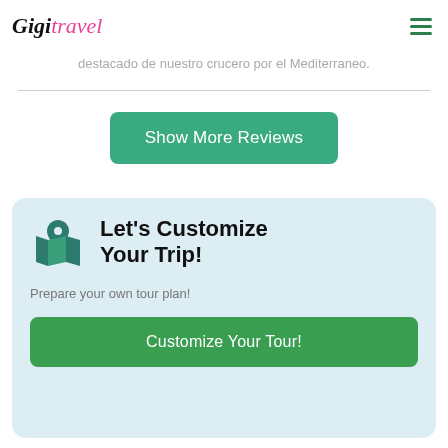GigiTravel
destacado de nuestro crucero por el Mediterraneo.
Show More Reviews
Let's Customize Your Trip!
Prepare your own tour plan!
Customize Your Tour!